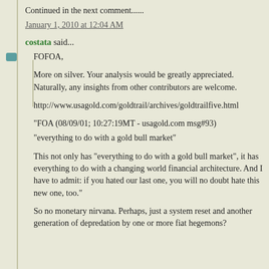Continued in the next comment......
January 1, 2010 at 12:04 AM
costata said...
FOFOA,
More on silver. Your analysis would be greatly appreciated. Naturally, any insights from other contributors are welcome.
http://www.usagold.com/goldtrail/archives/goldtrailfive.html
"FOA (08/09/01; 10:27:19MT - usagold.com msg#93)
"everything to do with a gold bull market"
This not only has "everything to do with a gold bull market", it has everything to do with a changing world financial architecture. And I have to admit: if you hated our last one, you will no doubt hate this new one, too."
So no monetary nirvana. Perhaps, just a system reset and another generation of depredation by one or more fiat hegemons?